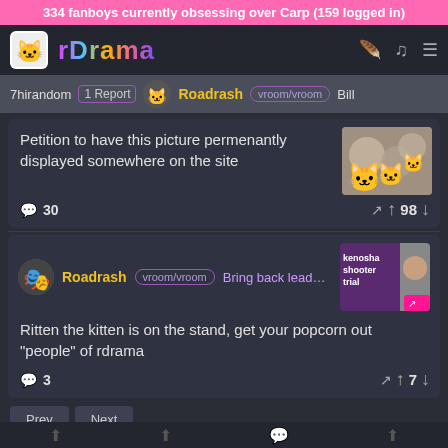334 fanboys currently obsessing over Carp (159 logged in)
[Figure (screenshot): rDrama website navigation bar with logo icon and site name in rainbow gradient, with feather, music note, and hamburger menu icons on the right]
7hirandom  1 Report  Roadrash  vroom/vroom  Bill
Petition to have this picture permenantly displayed somewhere on the site
💬 30    98
Roadrash  vroom/vroom  Bring back leaded gasoli
Ritten the kitten is on the stand, get your popcorn out "people" of rdrama
💬 3    7
Prev
Next